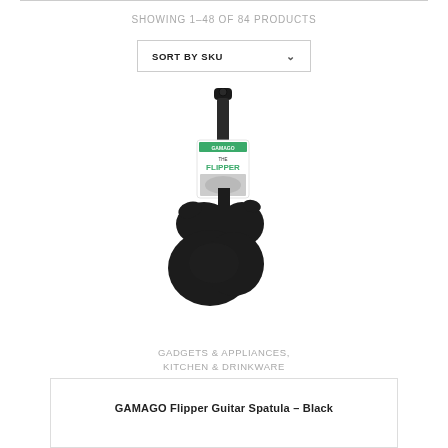SHOWING 1–48 OF 84 PRODUCTS
SORT BY SKU
[Figure (photo): Guitar-shaped spatula product (GAMAGO The Flipper) with packaging label, black silicone guitar body with handle.]
GADGETS & APPLIANCES, KITCHEN & DRINKWARE
GAMAGO Flipper Guitar Spatula – Black